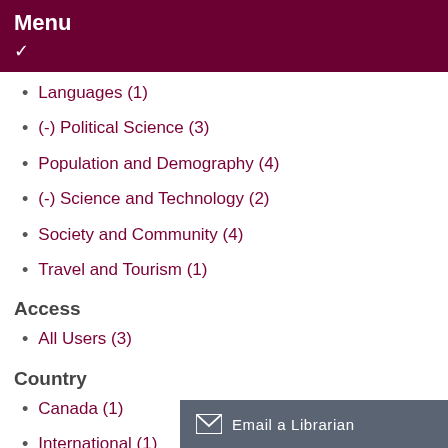Menu
Languages (1)
(-) Political Science (3)
Population and Demography (4)
(-) Science and Technology (2)
Society and Community (4)
Travel and Tourism (1)
Access
All Users (3)
Country
Canada (1)
International (1)
(-) US (3)
Type
(-) Data Visualization
Email a Librarian